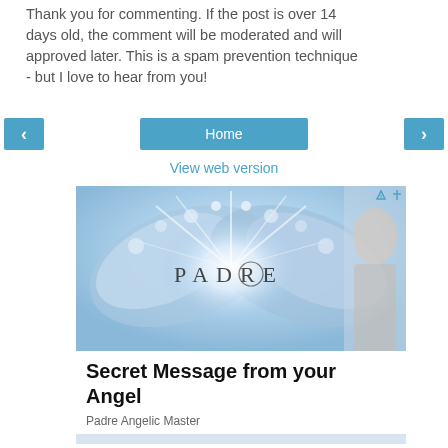Thank you for commenting. If the post is over 14 days old, the comment will be moderated and will approved later. This is a spam prevention technique - but I love to hear from you!
[Figure (screenshot): Navigation bar with left arrow button, Home button, and right arrow button in teal/blue style]
View web version
[Figure (illustration): Advertisement banner for Padre Angelic Master showing angelic/spiritual imagery with wings, light, and an angel figure, with text 'PADRE' and 'Secret Message from your Angel' and 'Padre Angelic Master']